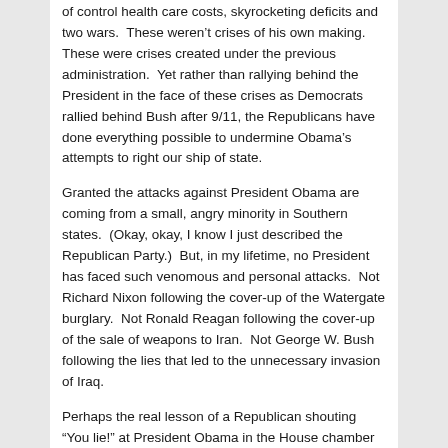of control health care costs, skyrocketing deficits and two wars.  These weren't crises of his own making.  These were crises created under the previous administration.  Yet rather than rallying behind the President in the face of these crises as Democrats rallied behind Bush after 9/11, the Republicans have done everything possible to undermine Obama's attempts to right our ship of state.
Granted the attacks against President Obama are coming from a small, angry minority in Southern states.  (Okay, okay, I know I just described the Republican Party.)  But, in my lifetime, no President has faced such venomous and personal attacks.  Not Richard Nixon following the cover-up of the Watergate burglary.  Not Ronald Reagan following the cover-up of the sale of weapons to Iran.  Not George W. Bush following the lies that led to the unnecessary invasion of Iraq.
Perhaps the real lesson of a Republican shouting “You lie!” at President Obama in the House chamber is this:  Pathological liars often assume everyone else is like them.